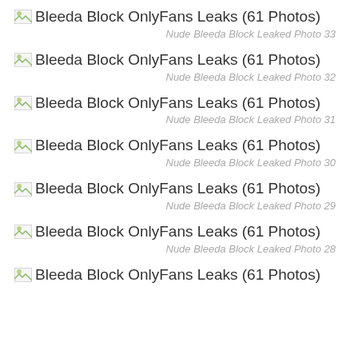[Figure (photo): Broken image placeholder for Bleeda Block OnlyFans Leaks (61 Photos)]
Nude Bleeda Block Leaked Photo 33
[Figure (photo): Broken image placeholder for Bleeda Block OnlyFans Leaks (61 Photos)]
Nude Bleeda Block Leaked Photo 32
[Figure (photo): Broken image placeholder for Bleeda Block OnlyFans Leaks (61 Photos)]
Nude Bleeda Block Leaked Photo 31
[Figure (photo): Broken image placeholder for Bleeda Block OnlyFans Leaks (61 Photos)]
Nude Bleeda Block Leaked Photo 30
[Figure (photo): Broken image placeholder for Bleeda Block OnlyFans Leaks (61 Photos)]
Nude Bleeda Block Leaked Photo 29
[Figure (photo): Broken image placeholder for Bleeda Block OnlyFans Leaks (61 Photos)]
Nude Bleeda Block Leaked Photo 28
[Figure (photo): Broken image placeholder for Bleeda Block OnlyFans Leaks (61 Photos)]